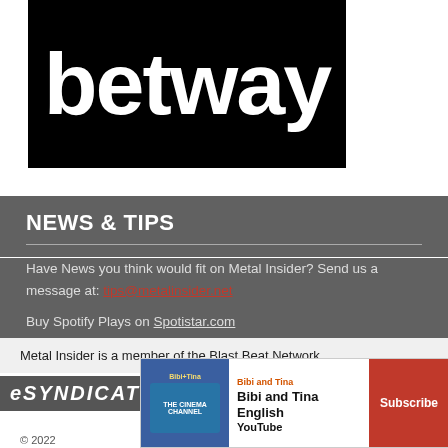[Figure (logo): Betway logo - white text on black background]
NEWS & TIPS
Have News you think would fit on Metal Insider? Send us a message at: tips@metalinsider.net
Buy Spotify Plays on Spotistar.com
Metal Insider is a member of the Blast Beat Network
[Figure (logo): eSyndicate logo in white italic text on dark background]
[Figure (other): Advertisement banner for Bibi and Tina English YouTube channel with Subscribe button]